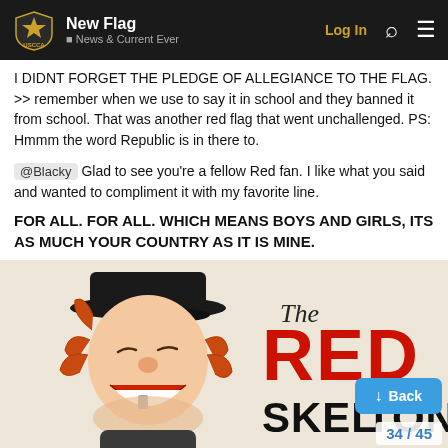New Flag | USCCA | News & Current Events | Log In
I DIDNT FORGET THE PLEDGE OF ALLEGIANCE TO THE FLAG. >> remember when we use to say it in school and they banned it from school. That was another red flag that went unchallenged. PS: Hmmm the word Republic is in there to.
@Blacky Glad to see you're a fellow Red fan. I like what you said and wanted to compliment it with my favorite line.
FOR ALL. FOR ALL. WHICH MEANS BOYS AND GIRLS, ITS AS MUCH YOUR COUNTRY AS IT IS MINE.
[Figure (illustration): Illustrated image of Red Skelton (clown character) with text 'The RED SKELTON' overlaid. A blue 'Back' button and page counter '34 / 45' appear over the image.]